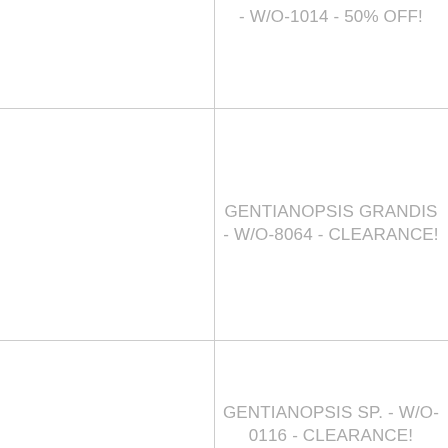- W/O-1014 - 50% OFF!
GENTIANOPSIS GRANDIS - W/O-8064 - CLEARANCE!
GENTIANOPSIS SP. - W/O-0116 - CLEARANCE!